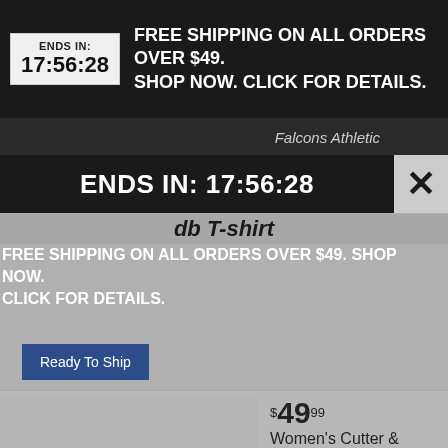ENDS IN:
17:56:28 — FREE SHIPPING ON ALL ORDERS OVER $49. SHOP NOW. CLICK FOR DETAILS.
Falcons Athletic
ENDS IN: 17:56:28
db T-shirt
FREE SHIPPING ON ALL ORDERS OVER $49. SHOP NOW. CLICK FOR DETAILS.
Ready To Ship
$49.99
Women's Cutter & Buck White/Red Atlanta Falcons Presley V-Neck T-Shirt